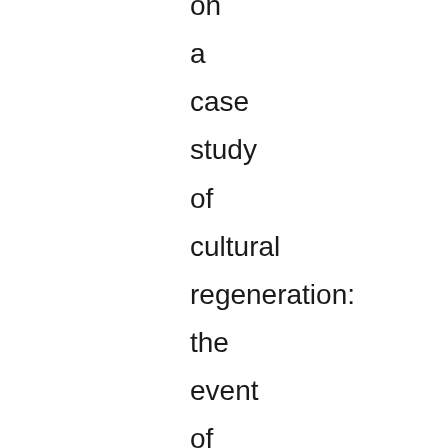on a case study of cultural regeneration: the event of Liverpool receiving EU Capital of Culture status in June 2003. Through attention